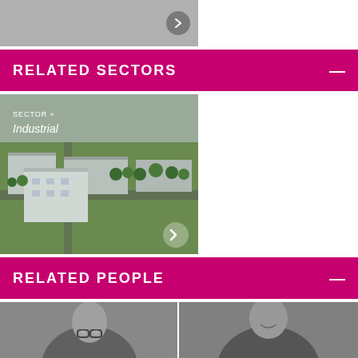[Figure (photo): Top partial image of industrial building with navigation arrow button]
RELATED SECTORS
[Figure (photo): Aerial view of industrial complex with warehouses and green areas. Label: SECTOR » Industrial]
RELATED PEOPLE
[Figure (photo): Two black and white portrait photos of people]